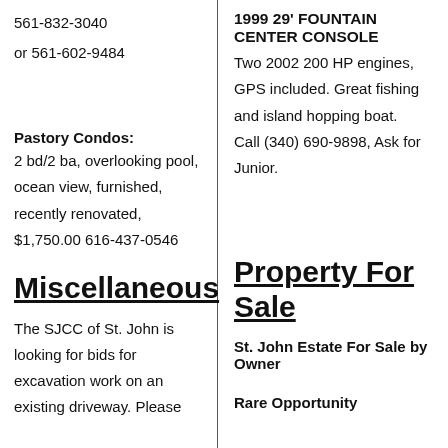561-832-3040
or 561-602-9484
Pastory Condos:
2 bd/2 ba, overlooking pool, ocean view, furnished, recently renovated, $1,750.00 616-437-0546
Miscellaneous
The SJCC of St. John is looking for bids for excavation work on an existing driveway. Please
1999 29’ FOUNTAIN CENTER CONSOLE
Two 2002 200 HP engines, GPS included. Great fishing and island hopping boat. Call (340) 690-9898, Ask for Junior.
Property For Sale
St. John Estate For Sale by Owner
Rare Opportunity